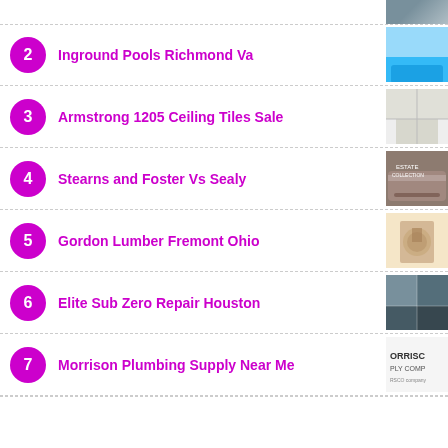2 Inground Pools Richmond Va
3 Armstrong 1205 Ceiling Tiles Sale
4 Stearns and Foster Vs Sealy
5 Gordon Lumber Fremont Ohio
6 Elite Sub Zero Repair Houston
7 Morrison Plumbing Supply Near Me